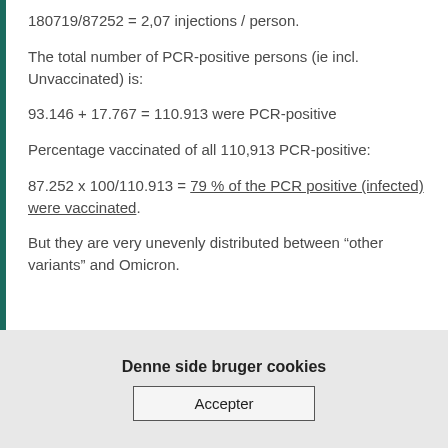180719/87252 = 2,07 injections / person.
The total number of PCR-positive persons (ie incl. Unvaccinated) is:
93.146 + 17.767 = 110.913 were PCR-positive
Percentage vaccinated of all 110,913 PCR-positive:
87.252 x 100/110.913 = 79 % of the PCR positive (infected) were vaccinated.
But they are very unevenly distributed between “other variants” and Omicron.
Denne side bruger cookies
Accepter